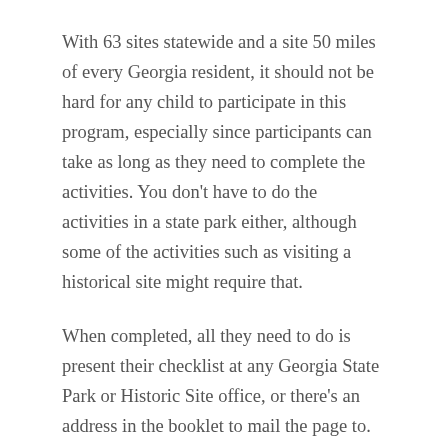With 63 sites statewide and a site 50 miles of every Georgia resident, it should not be hard for any child to participate in this program, especially since participants can take as long as they need to complete the activities. You don't have to do the activities in a state park either, although some of the activities such as visiting a historical site might require that.
When completed, all they need to do is present their checklist at any Georgia State Park or Historic Site office, or there's an address in the booklet to mail the page to. Participants who mail their page in will receive their badge in 2-4 weeks.
Occasionally there are Junior Ranger day camps or workshops that participants can attend.  These usually